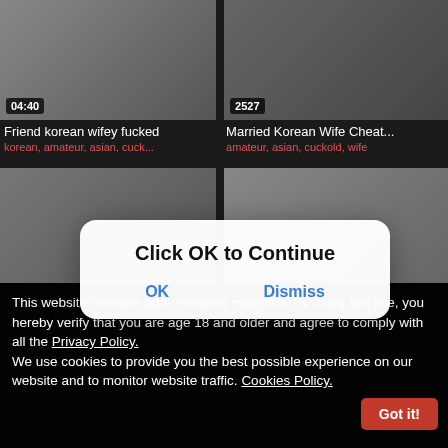[Figure (screenshot): Video thumbnail top-left with badge 04:40]
[Figure (screenshot): Video thumbnail top-right with badge 2527]
Friend korean wifey fucked
korean, amateur, asian, cuck...
Married Korean Wife Cheat...
amateur, asian, cuckold, wife
[Figure (screenshot): Video thumbnail mid-left]
[Figure (screenshot): Video thumbnail mid-right]
This website contains age-restricted materials. By using this site, you hereby verify that you are age 18 and older and agree to comply with all the Privacy Policy.
We use cookies to provide you the best possible experience on our website and to monitor website traffic. Cookies Policy.
Got it!
Click OK to Continue
OK
Dismiss